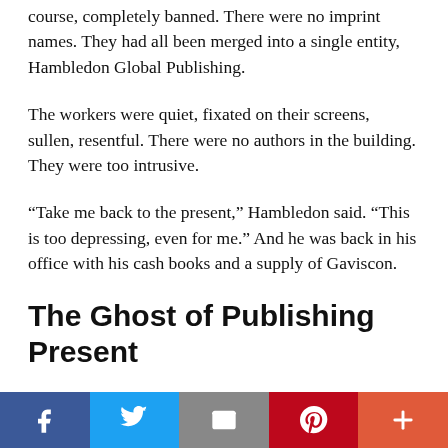course, completely banned. There were no imprint names. They had all been merged into a single entity, Hambledon Global Publishing.
The workers were quiet, fixated on their screens, sullen, resentful. There were no authors in the building. They were too intrusive.
“Take me back to the present,” Hambledon said. “This is too depressing, even for me.” And he was back in his office with his cash books and a supply of Gaviscon.
The Ghost of Publishing Present
...
[Figure (other): Social sharing bar with Facebook, Twitter, email, Pinterest, and more buttons]